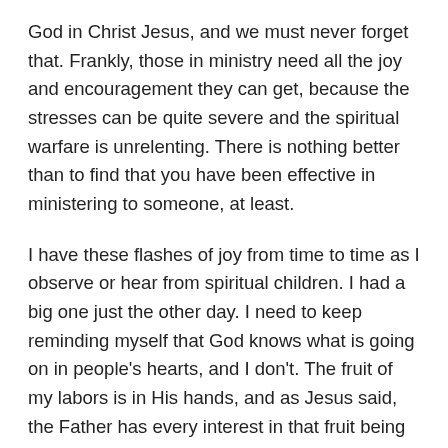God in Christ Jesus, and we must never forget that. Frankly, those in ministry need all the joy and encouragement they can get, because the stresses can be quite severe and the spiritual warfare is unrelenting. There is nothing better than to find that you have been effective in ministering to someone, at least.
I have these flashes of joy from time to time as I observe or hear from spiritual children. I had a big one just the other day. I need to keep reminding myself that God knows what is going on in people's hearts, and I don't. The fruit of my labors is in His hands, and as Jesus said, the Father has every interest in that fruit being abundant. (John 15:8) At this point I see some younger people in ministry and envy their vigor, but at the same time I recognize that the ripples from my ministry are still